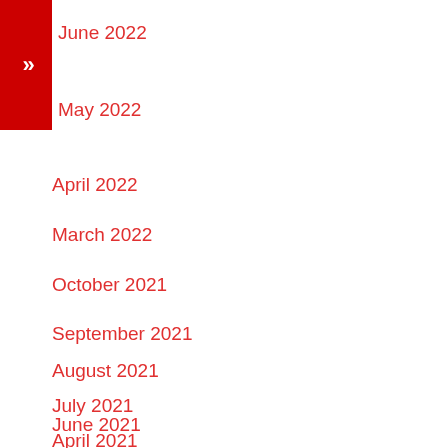June 2022
May 2022
April 2022
March 2022
October 2021
September 2021
August 2021
July 2021
June 2021
April 2021
March 2021
February 2021